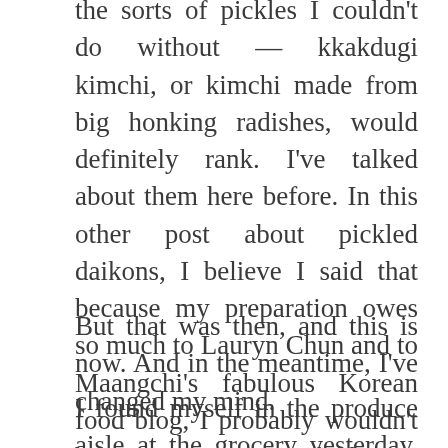the sorts of pickles I couldn't do without — kkakdugi kimchi, or kimchi made from big honking radishes, would definitely rank. I've talked about them here before. In this other post about pickled daikons, I believe I said that because my preparation owes so much to Lauryn Chun and to Maangchi's fabulous Korean food blog, I probably wouldn't be posting a version of it here.
But that was then, and this is now. And in the meantime, I've changed my mind.
I found myself in the produce aisle at the grocery yesterday, staring at some very pretty, very large daikon radishes. And I